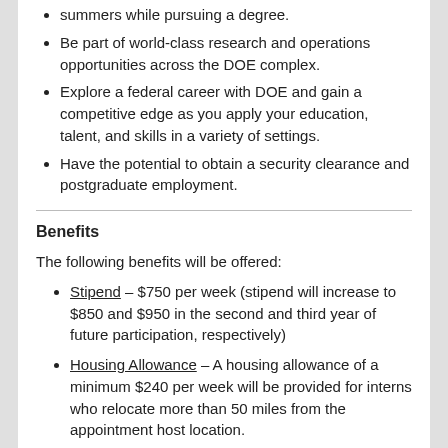summers while pursuing a degree.
Be part of world-class research and operations opportunities across the DOE complex.
Explore a federal career with DOE and gain a competitive edge as you apply your education, talent, and skills in a variety of settings.
Have the potential to obtain a security clearance and postgraduate employment.
Benefits
The following benefits will be offered:
Stipend – $750 per week (stipend will increase to $850 and $950 in the second and third year of future participation, respectively)
Housing Allowance – A housing allowance of a minimum $240 per week will be provided for interns who relocate more than 50 miles from the appointment host location.
Travel - Travel reimbursement will be provided for inbound and outbound expenses up to $1,000 for